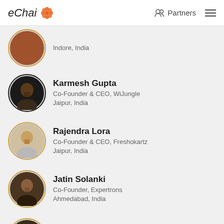eChai | Partners
Indore, India
Karmesh Gupta
Co-Founder & CEO, WiJungle
Jaipur, India
Rajendra Lora
Co-Founder & CEO, Freshokartz
Jaipur, India
Jatin Solanki
Co-Founder, Expertrons
Ahmedabad, India
Vivek Gupta
Co-Founder, Expertrons
Mumbai, India
Junaid Ahmed
Co-Founder & CEO, GetSetHome.com
Mumbai, India
Arun Karunagaran